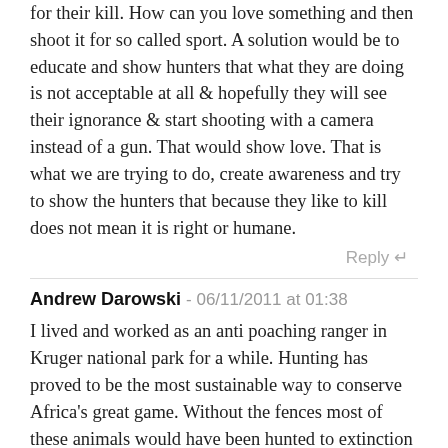for their kill. How can you love something and then shoot it for so called sport. A solution would be to educate and show hunters that what they are doing is not acceptable at all & hopefully they will see their ignorance & start shooting with a camera instead of a gun. That would show love. That is what we are trying to do, create awareness and try to show the hunters that because they like to kill does not mean it is right or humane.
Reply ↵
Andrew Darowski - 06/11/2011 at 01:38
I lived and worked as an anti poaching ranger in Kruger national park for a while. Hunting has proved to be the most sustainable way to conserve Africa's great game. Without the fences most of these animals would have been hunted to extinction and the magic of Africa lost forever. Many of the owners of private hunting concessions use the profits from hunting to buy and rear endangered stock which they will never allow to be